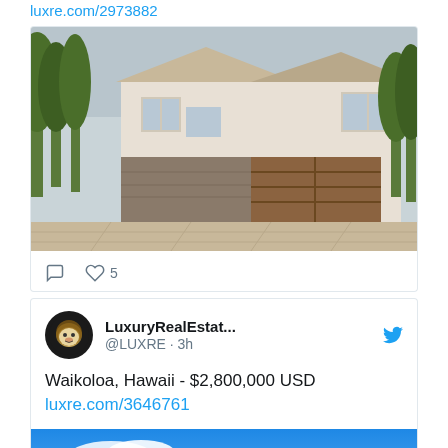luxre.com/2973882
[Figure (photo): Luxury home exterior with stone facade, wood garage doors, and paved driveway surrounded by tall trees]
comment icon, heart icon, 5 likes
LuxuryRealEstat... @LUXRE · 3h
Waikoloa, Hawaii - $2,800,000 USD luxre.com/3646761
[Figure (photo): Beachfront Hawaii property with palm trees, lush greenery, and ocean view under blue sky with clouds]